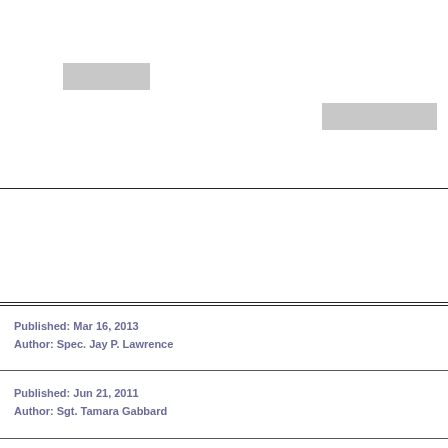[Figure (other): Top section with two redacted/placeholder gray boxes on white background, separated by a horizontal divider line]
Published: Mar 16, 2013
Author: Spec. Jay P. Lawrence
Published: Jun 21, 2011
Author: Sgt. Tamara Gabbard